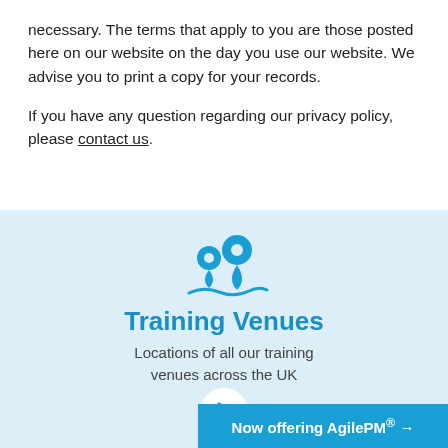necessary. The terms that apply to you are those posted here on our website on the day you use our website. We advise you to print a copy for your records.
If you have any question regarding our privacy policy, please contact us.
[Figure (illustration): Blue map pin / location marker icon with two overlapping pins and a wave shape underneath]
Training Venues
Locations of all our training venues across the UK
[Figure (other): White circle with a right-pointing chevron arrow]
Now offering AgilePM® →